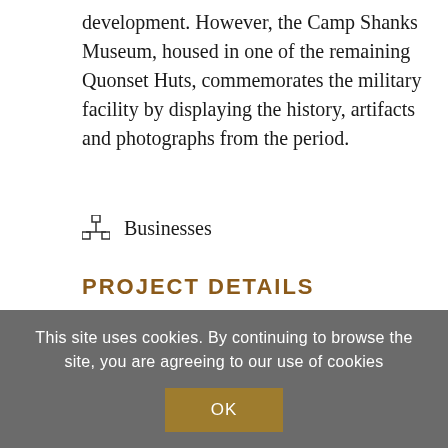development. However, the Camp Shanks Museum, housed in one of the remaining Quonset Huts, commemorates the military facility by displaying the history, artifacts and photographs from the period.
Businesses
PROJECT DETAILS
This site uses cookies. By continuing to browse the site, you are agreeing to our use of cookies